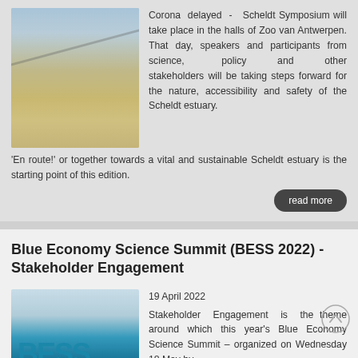[Figure (photo): Aerial or close-up photo of a tidal estuary shoreline showing water, sand patterns, and mud flats with tidal marks]
Corona delayed - Scheldt Symposium will take place in the halls of Zoo van Antwerpen. That day, speakers and participants from science, policy and other stakeholders will be taking steps forward for the nature, accessibility and safety of the Scheldt estuary. 'En route!' or together towards a vital and sustainable Scheldt estuary is the starting point of this edition.
read more
Blue Economy Science Summit (BESS 2022) - Stakeholder Engagement
[Figure (photo): BESS 2022 event graphic/logo showing large letters BESS over a water background]
19 April 2022
Stakeholder Engagement is the theme around which this year's Blue Economy Science Summit – organized on Wednesday 18 May by